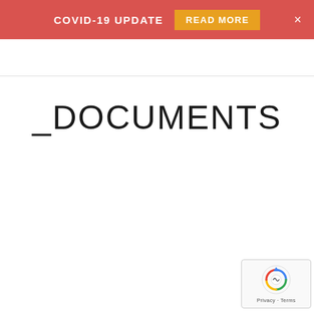COVID-19 UPDATE  READ MORE  ×
_DOCUMENTS
[Figure (logo): reCAPTCHA badge with spinning arrows logo and Privacy · Terms text]